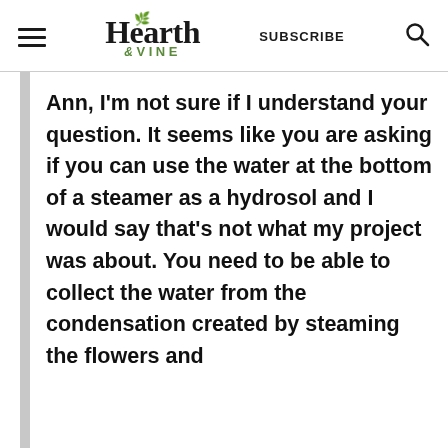Hearth & Vine — SUBSCRIBE
Ann, I'm not sure if I understand your question. It seems like you are asking if you can use the water at the bottom of a steamer as a hydrosol and I would say that's not what my project was about. You need to be able to collect the water from the condensation created by steaming the flowers and